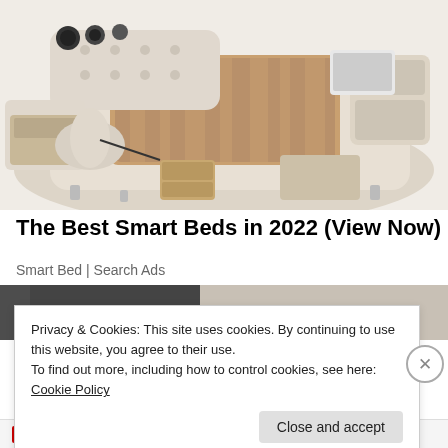[Figure (photo): A smart bed with cream/beige leather upholstery featuring built-in storage drawers, speakers, massage chair, and various integrated features. Multiple compartments are open showing storage space.]
The Best Smart Beds in 2022 (View Now)
Smart Bed | Search Ads
[Figure (photo): Partial view of another image, appears to be a person in a dark jacket with a lighter background]
Privacy & Cookies: This site uses cookies. By continuing to use this website, you agree to their use.
To find out more, including how to control cookies, see here: Cookie Policy
Close and accept